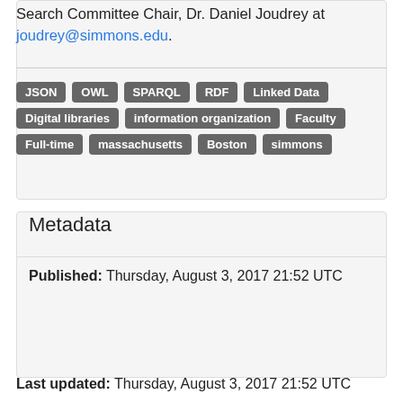Search Committee Chair, Dr. Daniel Joudrey at joudrey@simmons.edu.
JSON
OWL
SPARQL
RDF
Linked Data
Digital libraries
information organization
Faculty
Full-time
massachusetts
Boston
simmons
Metadata
Published: Thursday, August 3, 2017 21:52 UTC
Last updated: Thursday, August 3, 2017 21:52 UTC